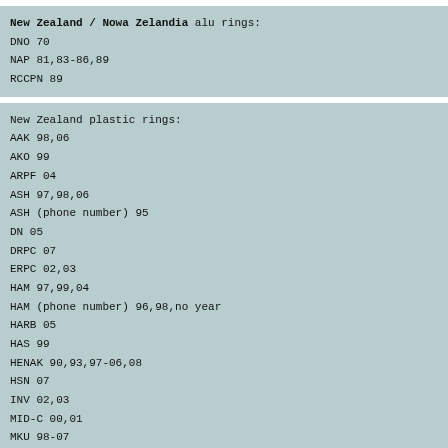New Zealand / Nowa Zelandia alu rings:
DNO 70
NAP 81,83-86,89
RCCPN 89
New Zealand plastic rings:
AAK 98,06
AKO 99
ARPF 04
ASH 97,98,06
ASH (phone number) 95
DN 05
DRPC 07
ERPC 02,03
HAM 97,99,04
HAM (phone number) 96,98,no year
HARB 05
HAS 99
HENAK 90,93,97-06,08
HSN 07
INV 02,03
MID-C 00,01
MKU 98-07
MNR 93